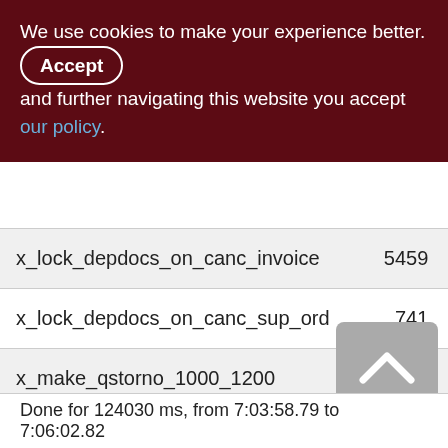We use cookies to make your experience better. By accepting and further navigating this website you accept our policy.
|  |  |  |
| --- | --- | --- |
| x_lock_depdocs_on_canc_invoice | 5459 | 31 |
| x_lock_depdocs_on_canc_sup_ord | 741 | 2 |
| x_make_qstorno_1000_1200 | 9841 | 98 |
| x_make_qstorno_1200_2000 | 9725 | 97 |
| x_make_qstorno_2100_3300 | 257114 | 2571 |
Done for 124030 ms, from 7:03:58.79 to 7:06:02.82